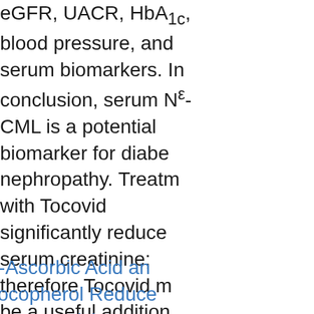eGFR, UACR, HbA1c, blood pressure, and serum biomarkers. In conclusion, serum NƐ-CML is a potential biomarker for diabetic nephropathy. Treatment with Tocovid significantly reduced serum creatinine; therefore Tocovid may be a useful addition to the current treatment of diabetic nephropathy [Nutra USA] - See Tocovid at Amazon.com.
L-Ascorbic Acid and Tocopherol Reduce Hepatotoxicity Associated with Arsenic Trioxide Chemotherapy by Modulating Nrf2 Bcl2 Transcription Factors in Chang liver